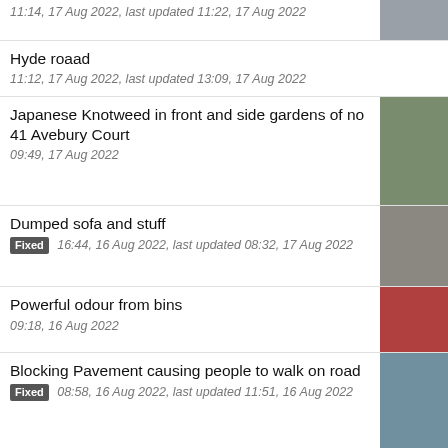11:14, 17 Aug 2022, last updated 11:22, 17 Aug 2022
Hyde roaad
11:12, 17 Aug 2022, last updated 13:09, 17 Aug 2022
Japanese Knotweed in front and side gardens of no 41 Avebury Court
09:49, 17 Aug 2022
Dumped sofa and stuff
Fixed 16:44, 16 Aug 2022, last updated 08:32, 17 Aug 2022
Powerful odour from bins
09:18, 16 Aug 2022
Blocking Pavement causing people to walk on road
Fixed 08:58, 16 Aug 2022, last updated 11:51, 16 Aug 2022
Old signs
07:57, 16 Aug 2022